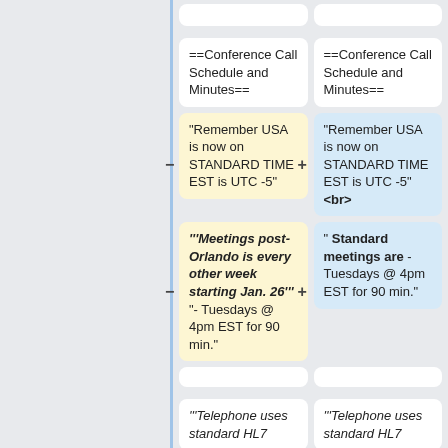==Conference Call Schedule and Minutes==
==Conference Call Schedule and Minutes==
"Remember USA is now on STANDARD TIME EST is UTC -5"
"Remember USA is now on STANDARD TIME EST is UTC -5"<br>
"""Meetings post-Orlando is every other week starting Jan. 26""" "- Tuesdays @ 4pm EST for 90 min."
" Standard meetings are - Tuesdays @ 4pm EST for 90 min."
"""Telephone uses standard HL7
"""Telephone uses standard HL7